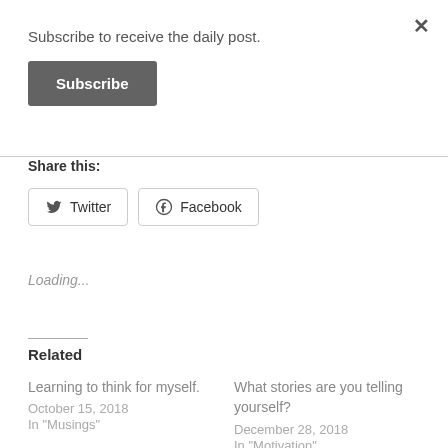×
Subscribe to receive the daily post.
Subscribe
Share this:
Twitter  Facebook
Loading...
Related
Learning to think for myself.
October 15, 2018
In "Musings"
What stories are you telling yourself?
December 28, 2018
In "Motivation"